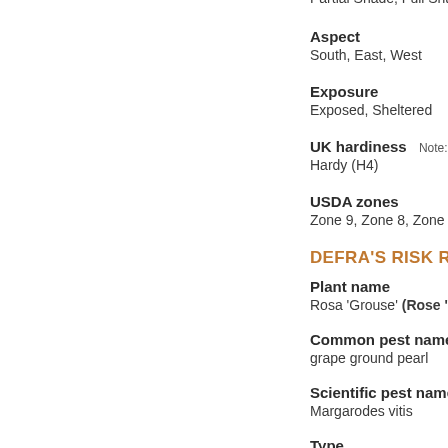Partial Shade, Full Shade
Aspect
South, East, West
Exposure
Exposed, Sheltered
UK hardiness
Hardy (H4)
USDA zones
Zone 9, Zone 8, Zone 7, Z
DEFRA'S RISK RE
Plant name
Rosa 'Grouse' (Rose 'Gro
Common pest name
grape ground pearl
Scientific pest name
Margarodes vitis
Type
Insect